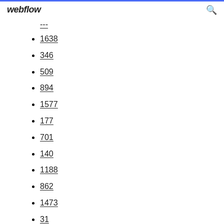webflow
---
1638
346
509
894
1577
177
701
140
1188
862
1473
31